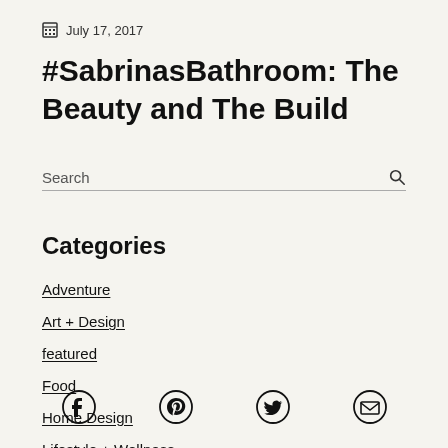July 17, 2017
#SabrinasBathroom: The Beauty and The Build
Search
Categories
Adventure
Art + Design
featured
Food
Home Design
Lifestyle + Wellness
Social icons: Facebook, Pinterest, Twitter, Email